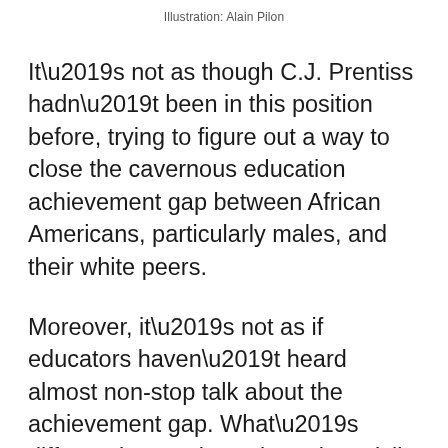Illustration: Alain Pilon
It’s not as though C.J. Prentiss hadn’t been in this position before, trying to figure out a way to close the cavernous education achievement gap between African Americans, particularly males, and their white peers.
Moreover, it’s not as if educators haven’t heard almost non-stop talk about the achievement gap. What’s different is Prentiss, a long-time civil rights activist and former state senator from Cleveland, is taking a different approach than many others. First, she’s focusing specifically on 9th-grade boys